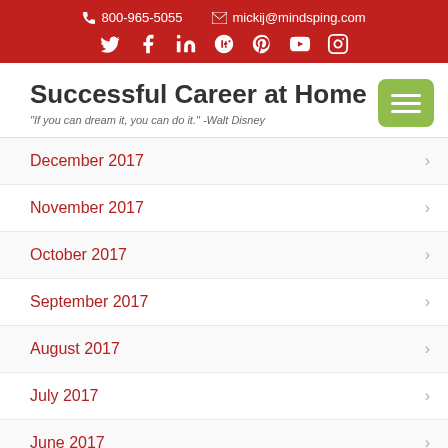800-965-5055  mickij@mindsping.com
Successful Career at Home
"If you can dream it, you can do it." -Walt Disney
December 2017
November 2017
October 2017
September 2017
August 2017
July 2017
June 2017